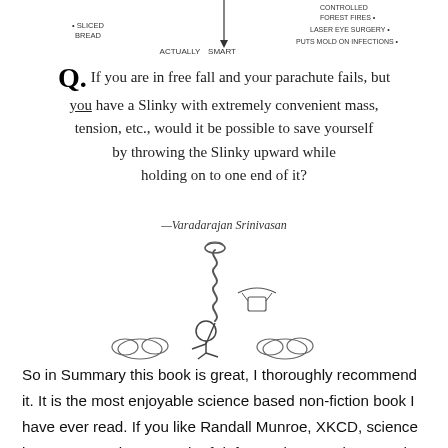[Figure (illustration): Partial diagram at top of page showing labels: SLICED BREAD, CONTROLLED FOREST FIRES, LASER EYE SURGERY, PUTS MOLD ON INFECTIONS, ACTUALLY SMART]
Q. If you are in free fall and your parachute fails, but you have a Slinky with extremely convenient mass, tension, etc., would it be possible to save yourself by throwing the Slinky upward while holding on to one end of it?
—Varadarajan Srinivasan
[Figure (illustration): Stick figure in free fall holding one end of a Slinky that extends upward. A small flying object (failed parachute pack) is to the right. Two clouds are visible below.]
So in Summary this book is great, I thoroughly recommend it. It is the most enjoyable science based non-fiction book I have ever read. If you like Randall Munroe, XKCD, science in any way, or just a touch of daftness then I reckon you'd like